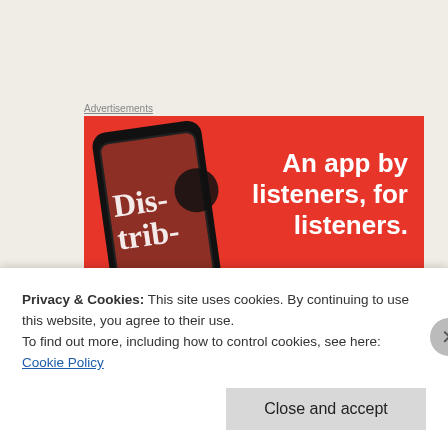Advertisements
[Figure (screenshot): Red advertisement banner for a podcast/music app. Shows a smartphone with 'Distributed' text on its screen and the tagline 'An app by listeners, for listeners.' in white bold text on a red background.]
Privacy & Cookies: This site uses cookies. By continuing to use this website, you agree to their use.
To find out more, including how to control cookies, see here: Cookie Policy
Close and accept